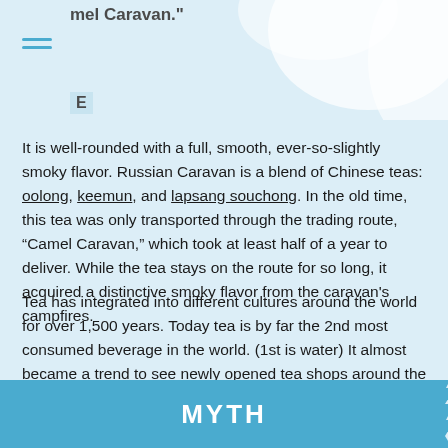mel Caravan."
E
It is well-rounded with a full, smooth, ever-so-slightly smoky flavor. Russian Caravan is a blend of Chinese teas: oolong, keemun, and lapsang souchong. In the old time, this tea was only transported through the trading route, “Camel Caravan,” which took at least half of a year to deliver. While the tea stays on the route for so long, it acquired a distinctive smoky flavor from the caravan's campfires.
Tea has integrated into different cultures around the world for over 1,500 years. Today tea is by far the 2nd most consumed beverage in the world. (1st is water) It almost became a trend to see newly opened tea shops around the corner everywhere.
MYTH